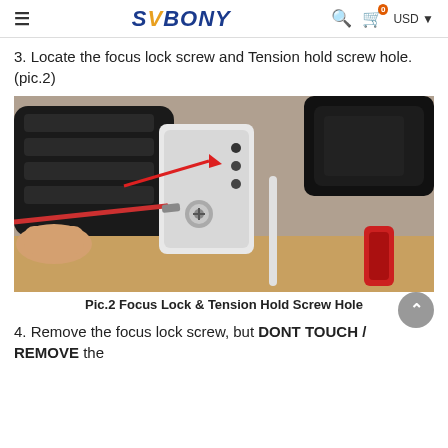≡  SVBONY  🔍  🛒 0  USD ▾
3. Locate the focus lock screw and Tension hold screw hole. (pic.2)
[Figure (photo): Close-up photograph of a telescope focuser showing the focus lock screw and tension hold screw hole, with a red arrow pointing to three screws on a silver bracket, and a screwdriver inserted into the main screw.]
Pic.2 Focus Lock & Tension Hold Screw Hole
4. Remove the focus lock screw, but DONT TOUCH / REMOVE the